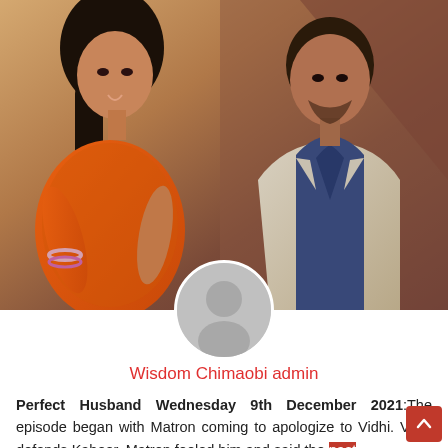[Figure (photo): Two people posed together: a woman in an orange saree with bangles and long dark hair on the left, and a man in a grey blazer over a dark blue shirt on the right. Background appears to be a brownish-orange gradient.]
Wisdom Chimaobi admin
Perfect Husband Wednesday 9th December 2021:The episode began with Matron coming to apologize to Vidhi. Vidhi defends Kabeer. Matron fooled him and said the past